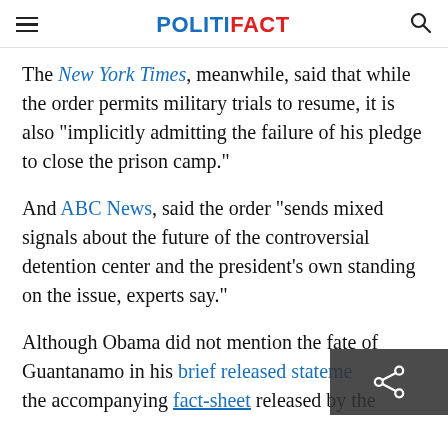POLITIFACT
The New York Times, meanwhile, said that while the order permits military trials to resume, it is also "implicitly admitting the failure of his pledge to close the prison camp."
And ABC News, said the order "sends mixed signals about the future of the controversial detention center and the president's own standing on the issue, experts say."
Although Obama did not mention the fate of Guantanamo in his brief released statement, the accompanying fact-sheet released by the